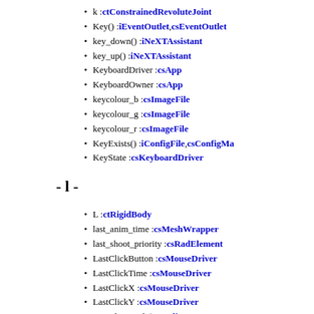k : ctConstrainedRevoluteJoint
Key() : iEventOutlet, csEventOutlet
key_down() : iNeXTAssistant
key_up() : iNeXTAssistant
KeyboardDriver : csApp
KeyboardOwner : csApp
keycolour_b : csImageFile
keycolour_g : csImageFile
keycolour_r : csImageFile
KeyExists() : iConfigFile, csConfigMap
KeyState : csKeyboardDriver
- l -
L : ctRigidBody
last_anim_time : csMeshWrapper
last_shoot_priority : csRadElement
LastClickButton : csMouseDriver
LastClickTime : csMouseDriver
LastClickX : csMouseDriver
LastClickY : csMouseDriver
LastClipResult() : csClipper
LastMouseContainer : csApp
lastpos : csNotebook